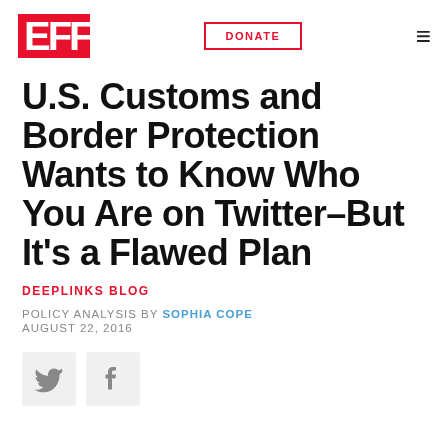EFF | DONATE | menu
U.S. Customs and Border Protection Wants to Know Who You Are on Twitter–But It's a Flawed Plan
DEEPLINKS BLOG
POLICY ANALYSIS BY SOPHIA COPE
AUGUST 22, 2016
[Figure (other): Twitter and Facebook social share buttons]